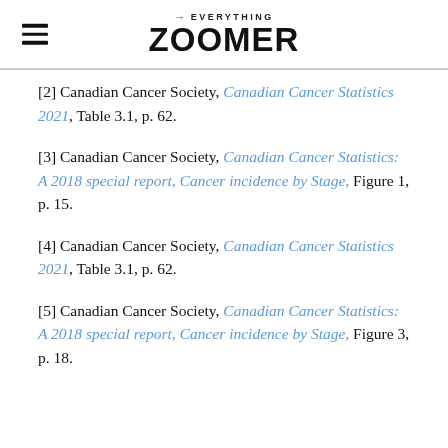→EVERYTHING ZOOMER
[2] Canadian Cancer Society, Canadian Cancer Statistics 2021, Table 3.1, p. 62.
[3] Canadian Cancer Society, Canadian Cancer Statistics: A 2018 special report, Cancer incidence by Stage, Figure 1, p. 15.
[4] Canadian Cancer Society, Canadian Cancer Statistics 2021, Table 3.1, p. 62.
[5] Canadian Cancer Society, Canadian Cancer Statistics: A 2018 special report, Cancer incidence by Stage, Figure 3, p. 18.